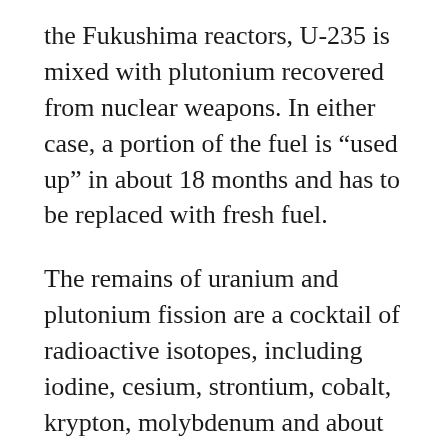the Fukushima reactors, U-235 is mixed with plutonium recovered from nuclear weapons. In either case, a portion of the fuel is “used up” in about 18 months and has to be replaced with fresh fuel.
The remains of uranium and plutonium fission are a cocktail of radioactive isotopes, including iodine, cesium, strontium, cobalt, krypton, molybdenum and about 20 other elements. Some of the elements are gases like iodine and krypton, while